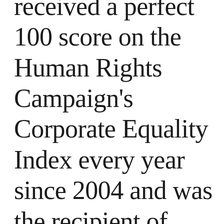received a perfect 100 score on the Human Rights Campaign's Corporate Equality Index every year since 2004 and was the recipient of their Corporate Equality